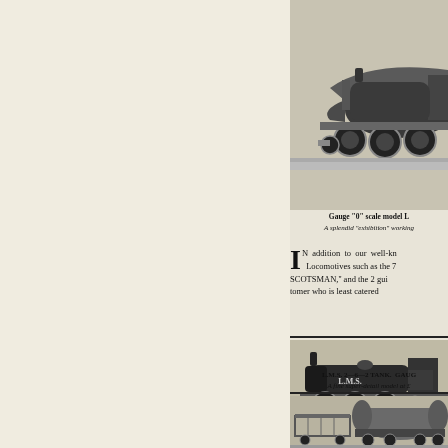[Figure (illustration): Gauge '0' scale model locomotive, streamlined steam engine, black and white photograph/illustration viewed from the side, right portion visible.]
Gauge "0" scale model L
A splendid "exhibition" working
IN addition to our well-kn Locomotives such as the 7 SCOTSMAN," and the 2 gui tomer who is least catered
[Figure (illustration): L.M.S. 2-6-2 Tank locomotive. GAUGE. A fine super-detail model. Black and white photograph of LMS tank engine on track, viewed from the side.]
L.M.S. 2—6—2 TANK. GAUG
A fine super-detail model at £
[Figure (illustration): Third locomotive illustration at bottom of page, partially visible, black and white.]